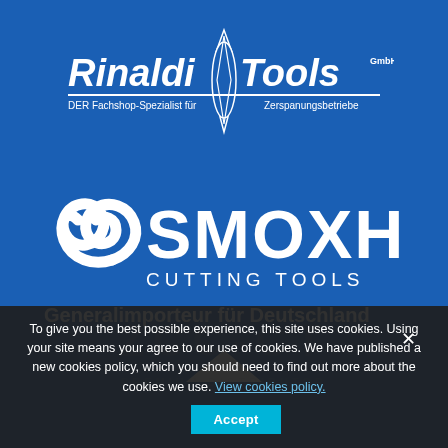[Figure (logo): Rinaldi Tools GmbH logo on blue background with diamond-shaped tool graphic. Text: 'Rinaldi Tools GmbH' with tagline 'DER Fachshop-Spezialist für Zerspanungsbetriebe']
[Figure (logo): SMOXH Cutting Tools logo with circular swirl icon in white on blue background. Below: 'CUTTING TOOLS' and 'Generalimporteur für Deutschland']
To give you the best possible experience, this site uses cookies. Using your site means your agree to our use of cookies. We have published a new cookies policy, which you should need to find out more about the cookies we use. View cookies policy.